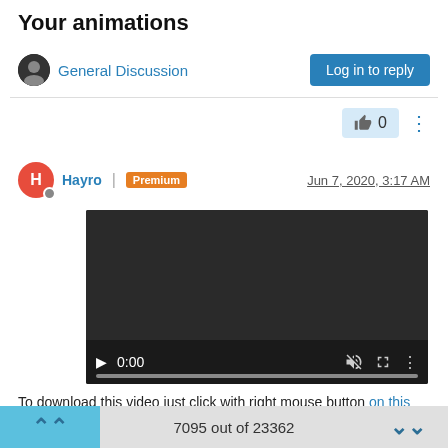Your animations
General Discussion
Log in to reply
👍 0
Hayro | Premium   Jun 7, 2020, 3:17 AM
[Figure (screenshot): Embedded video player showing 0:00 timestamp, dark background with playback controls including play button, mute icon, fullscreen icon, and a progress bar.]
To download this video just click with right mouse button on this link and select "Save link as..."
7095 out of 23362